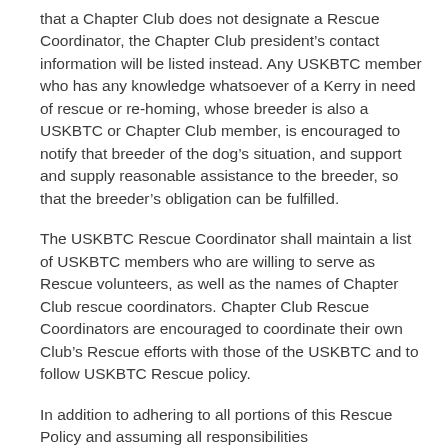that a Chapter Club does not designate a Rescue Coordinator, the Chapter Club president's contact information will be listed instead. Any USKBTC member who has any knowledge whatsoever of a Kerry in need of rescue or re-homing, whose breeder is also a USKBTC or Chapter Club member, is encouraged to notify that breeder of the dog's situation, and support and supply reasonable assistance to the breeder, so that the breeder's obligation can be fulfilled.
The USKBTC Rescue Coordinator shall maintain a list of USKBTC members who are willing to serve as Rescue volunteers, as well as the names of Chapter Club rescue coordinators. Chapter Club Rescue Coordinators are encouraged to coordinate their own Club's Rescue efforts with those of the USKBTC and to follow USKBTC Rescue policy.
In addition to adhering to all portions of this Rescue Policy and assuming all responsibilities